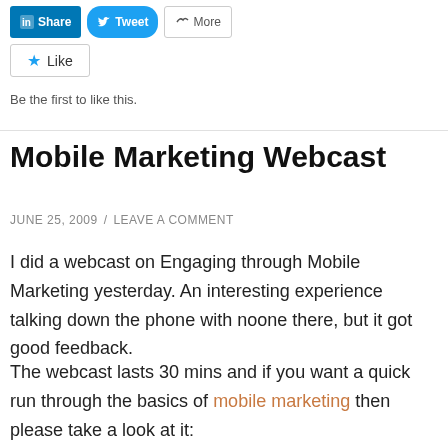[Figure (screenshot): Social share buttons: LinkedIn Share, Twitter Tweet, and More]
[Figure (screenshot): Like button with star icon]
Be the first to like this.
Mobile Marketing Webcast
JUNE 25, 2009 / LEAVE A COMMENT
I did a webcast on Engaging through Mobile Marketing yesterday. An interesting experience talking down the phone with noone there, but it got good feedback.
The webcast lasts 30 mins and if you want a quick run through the basics of mobile marketing then please take a look at it: